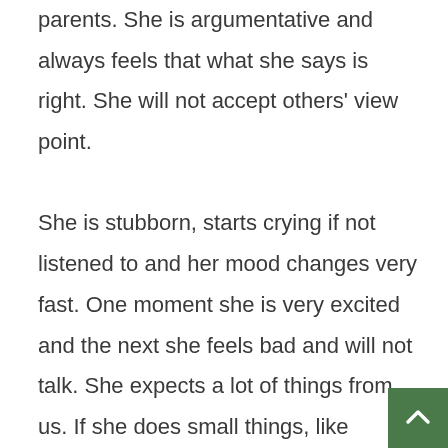parents. She is argumentative and always feels that what she says is right. She will not accept others' view point.

She is stubborn, starts crying if not listened to and her mood changes very fast. One moment she is very excited and the next she feels bad and will not talk. She expects a lot of things from us. If she does small things, like drawing, or study, she will show it to all the family members. She will ask again and again how it is an...